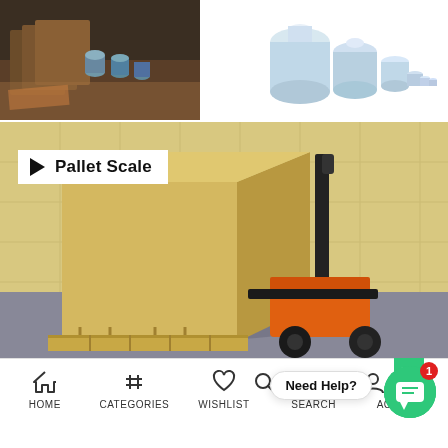[Figure (photo): Two product images side by side: left shows vintage calibration weights/blocks on a table; right shows a set of shiny chrome cylindrical calibration weights of various sizes]
[Figure (photo): Pallet Scale category image showing a large cardboard box on a pallet with an orange pallet jack/forklift in a warehouse setting. White label overlay reads 'Pallet Scale' with a play-button arrow]
[Figure (photo): Partial image at bottom showing dark brown background, partially cropped]
HOME   CATEGORIES   WISHLIST   SEARCH   ACCOUNT